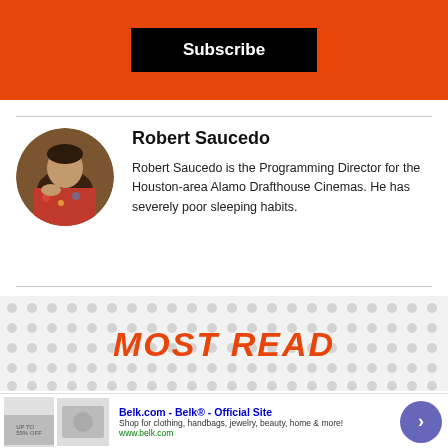[Figure (other): Orange subscribe banner with black Subscribe button]
[Figure (photo): Circular profile photo of Robert Saucedo]
Robert Saucedo
Robert Saucedo is the Programming Director for the Houston-area Alamo Drafthouse Cinemas. He has severely poor sleeping habits.
MOST READ
[Figure (screenshot): Advertisement for Belk.com - Belk Official Site with clothing and accessories imagery]